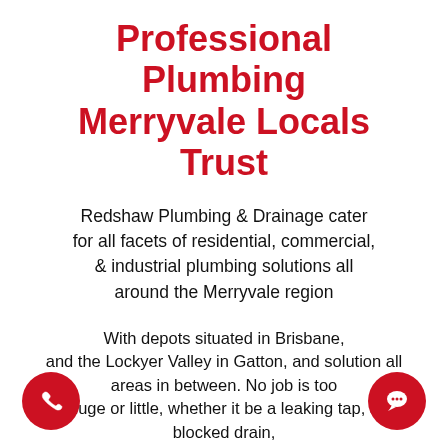Professional Plumbing Merryvale Locals Trust
Redshaw Plumbing & Drainage cater for all facets of residential, commercial, & industrial plumbing solutions all around the Merryvale region
With depots situated in Brisbane, and the Lockyer Valley in Gatton, and solution all areas in between. No job is too huge or little, whether it be a leaking tap, a blocked drain, a renovation or a brand-new development – we have the Merryvale plumber team for you.